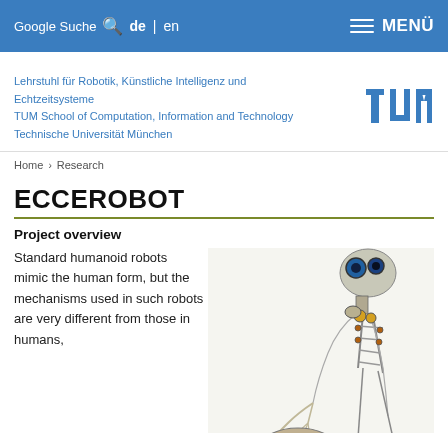Google Suche de | en   MENÜ
Lehrstuhl für Robotik, Künstliche Intelligenz und Echtzeitsysteme
TUM School of Computation, Information and Technology
Technische Universität München
[Figure (logo): TUM logo — stylized letters TUM in blue]
Home › Research
ECCEROBOT
Project overview
Standard humanoid robots mimic the human form, but the mechanisms used in such robots are very different from those in humans,
[Figure (photo): Photo of the ECCEROBOT — a humanoid robot skeleton with visible joints, motors, camera eyes, and mechanical components, shown from the upper body]